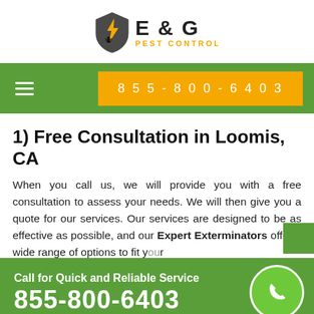[Figure (logo): E & G Pest Control logo with shield icon containing a lightning bolt and ant]
855-800-6403
1) Free Consultation in Loomis, CA
When you call us, we will provide you with a free consultation to assess your needs. We will then give you a quote for our services. Our services are designed to be as effective as possible, and our Expert Exterminators offer a wide range of options to fit your
Call for Quick and Reliable Service
855-800-6403